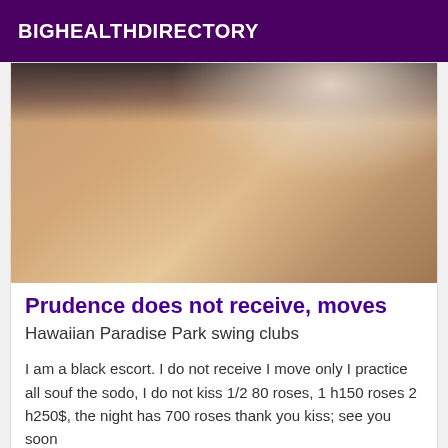BIGHEALTHDIRECTORY
[Figure (photo): Close-up photo of a person's hip and thigh area against a light background, wearing dark underwear]
Prudence does not receive, moves
Hawaiian Paradise Park swing clubs
I am a black escort. I do not receive I move only I practice all souf the sodo, I do not kiss 1/2 80 roses, 1 h150 roses 2 h250$, the night has 700 roses thank you kiss; see you soon
Online